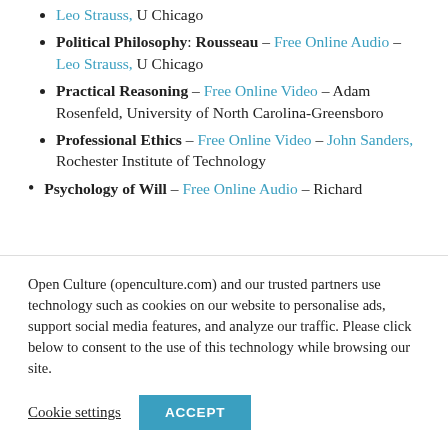Leo Strauss, U Chicago
Political Philosophy: Rousseau – Free Online Audio – Leo Strauss, U Chicago
Practical Reasoning – Free Online Video – Adam Rosenfeld, University of North Carolina-Greensboro
Professional Ethics – Free Online Video – John Sanders, Rochester Institute of Technology
Psychology of Will – Free Online Audio – Richard
Open Culture (openculture.com) and our trusted partners use technology such as cookies on our website to personalise ads, support social media features, and analyze our traffic. Please click below to consent to the use of this technology while browsing our site.
Cookie settings   ACCEPT